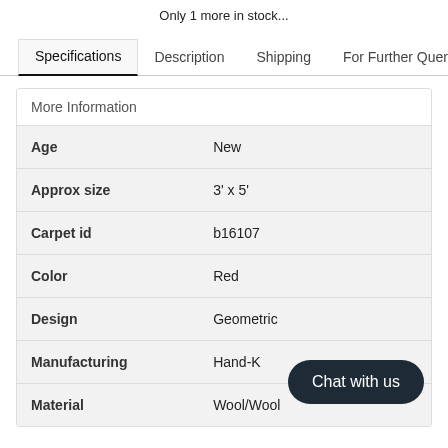Only 1 more in stock...
| Age | New |
| Approx size | 3' x 5' |
| Carpet id | b16107 |
| Color | Red |
| Design | Geometric |
| Manufacturing | Hand-K... |
| Material | Wool/Wool |